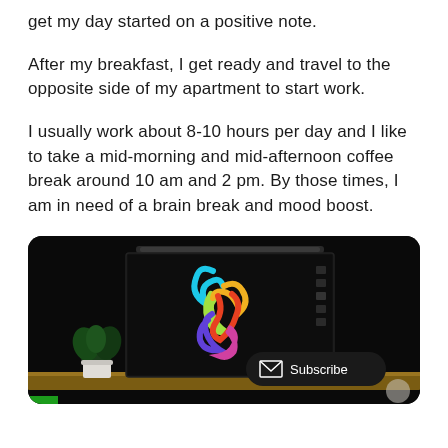get my day started on a positive note.
After my breakfast, I get ready and travel to the opposite side of my apartment to start work.
I usually work about 8-10 hours per day and I like to take a mid-morning and mid-afternoon coffee break around 10 am and 2 pm. By those times, I am in need of a brain break and mood boost.
[Figure (photo): A dark desk setup showing a monitor displaying a colorful Apple event logo (swirling colorful letters), a small plant in a white pot on the left, a monitor light bar on top, and a Subscribe button overlay in the bottom right corner.]